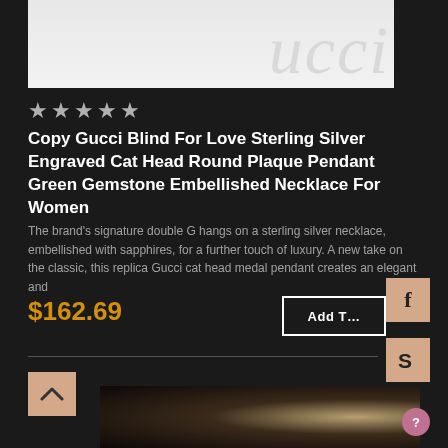[Figure (photo): Partial product image at top showing Gucci brand logo text on light grey background]
★★★★★
Copy Gucci Blind For Love Sterling Silver Engraved Cat Head Round Plaque Pendant Green Gemstone Embellished Necklace For Women
The brand's signature double G hangs on a sterling silver necklace, embellished with sapphires, for a further touch of luxury. A new take on the classic, this replica Gucci cat head medal pendant creates an elegant and
$162.69
Add T
[Figure (photo): Social media Facebook icon button, tan/beige square]
[Figure (photo): Social media Skype icon button, tan/beige square]
[Figure (photo): Up arrow navigation button, tan/beige square]
[Figure (photo): Bottom partial product image showing dark jewelry item]